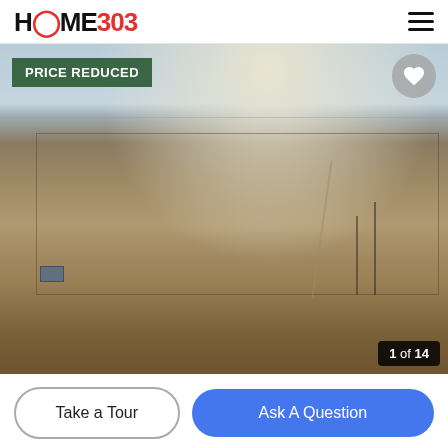HOME303 [logo with hamburger menu]
[Figure (photo): Aerial drone photo of a flat rural/agricultural land parcel in a dry grassland setting. Blue sky with sun glare at top, flat plains with sparse vegetation, a rectangular field boundary visible, a small structure/shed at left, power poles at right, and dirt roads traversing the property. Wide open landscape.]
PRICE REDUCED
1 of 14
Take a Tour
Ask A Question